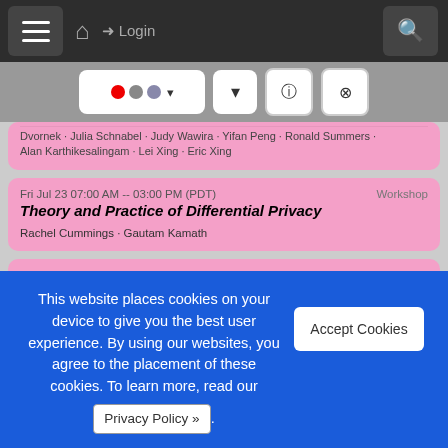≡  🏠  ➜ Login  🔍
Dvornek · Julia Schnabel · Judy Wawira · Yifan Peng · Ronald Summers · Alan Karthikesalingam · Lei Xing · Eric Xing
Fri Jul 23 07:00 AM -- 03:00 PM (PDT)  Workshop
Theory and Practice of Differential Privacy
Rachel Cummings · Gautam Kamath
Fri Jul 23 08:00 AM -- 05:20 PM (PDT)  Workshop
Machine Learning for Data: Automated Creation, Privacy, Bias
Zhiting Hu · Li Erran Li · Willie Neiswanger · Benedikt Boecking · Yi Xu · Belinda Zeng
This website places cookies on your device to give you the best user experience. By using our websites, you agree to the placement of these cookies. To learn more, read our Privacy Policy ».